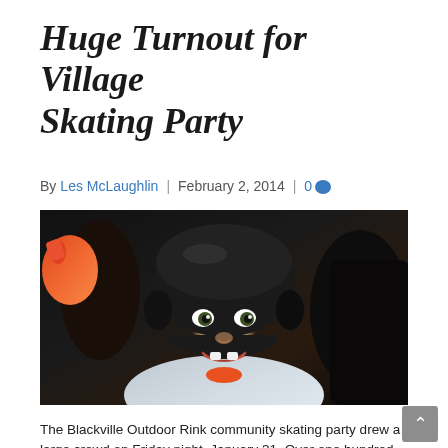Huge Turnout for Village Skating Party
By Les McLaughlin | February 2, 2014 | 0
[Figure (photo): Close-up photo of a young smiling child wearing a black hockey helmet, looking up at the camera with a happy expression, missing a front tooth. Background is dark with other people visible.]
The Blackville Outdoor Rink community skating party drew a large crowd on Friday night, January 31. Over one hundred children took to the ice for the free three-hour event sponsored by the Recreation Council. Inside, the building was filled to capacity with parents and children...